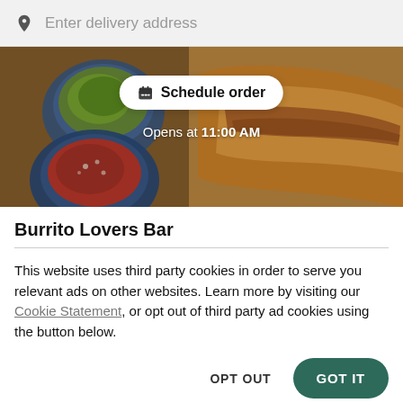Enter delivery address
[Figure (photo): Food photo showing burrito, guacamole, and salsa bowls with a 'Schedule order' button overlay and 'Opens at 11:00 AM' text]
Burrito Lovers Bar
This website uses third party cookies in order to serve you relevant ads on other websites. Learn more by visiting our Cookie Statement, or opt out of third party ad cookies using the button below.
OPT OUT
GOT IT